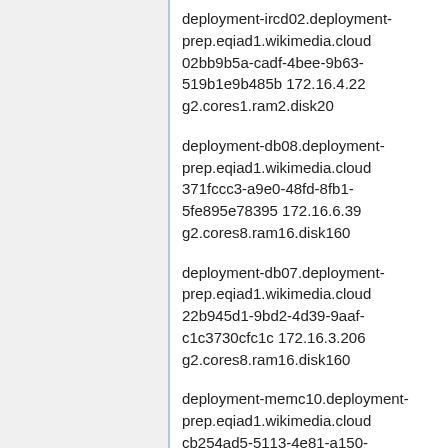deployment-ircd02.deployment-prep.eqiad1.wikimedia.cloud 02bb9b5a-cadf-4bee-9b63-519b1e9b485b 172.16.4.22 g2.cores1.ram2.disk20
deployment-db08.deployment-prep.eqiad1.wikimedia.cloud 371fccc3-a9e0-48fd-8fb1-5fe895e78395 172.16.6.39 g2.cores8.ram16.disk160
deployment-db07.deployment-prep.eqiad1.wikimedia.cloud 22b945d1-9bd2-4d39-9aaf-c1c3730cfc1c 172.16.3.206 g2.cores8.ram16.disk160
deployment-memc10.deployment-prep.eqiad1.wikimedia.cloud cb254ad5-5113-4e81-a150-63bd17f1e13a 172.16.4.30 g2.cores2.ram4.disk40
deployment-memc09.deployment-prep.eqiad1.wikimedia.cloud 1766a87b-...